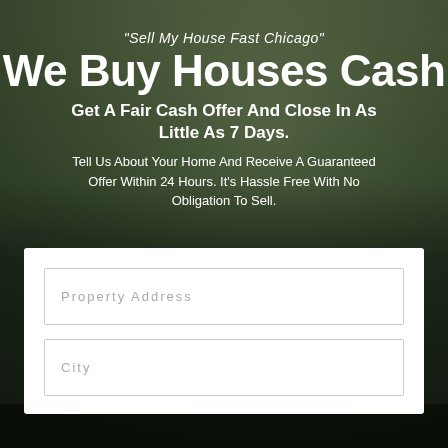"Sell My House Fast Chicago" We Buy Houses Cash
Get A Fair Cash Offer And Close In As Little As 7 Days.
Tell Us About Your Home And Receive A Guaranteed Offer Within 24 Hours. It's Hassle Free With No Obligation To Sell.
[Figure (screenshot): Web form with two text input fields: Property Address and City, on a white card overlay]
Property Address
City